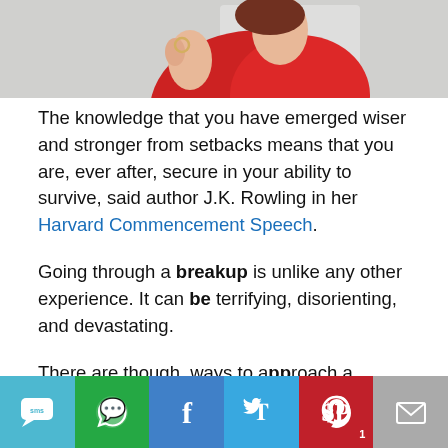[Figure (photo): Top portion of a photo showing a person in a red shirt, appearing distressed, holding what looks like a ring near their face]
The knowledge that you have emerged wiser and stronger from setbacks means that you are, ever after, secure in your ability to survive, said author J.K. Rowling in her Harvard Commencement Speech.
Going through a breakup is unlike any other experience. It can be terrifying, disorienting, and devastating.
There are though, ways to approach a breakup that help you ease the stress and negativity;
[Figure (infographic): Social share bar with SMS, WhatsApp, Facebook, Twitter, Pinterest (1), and Email buttons]